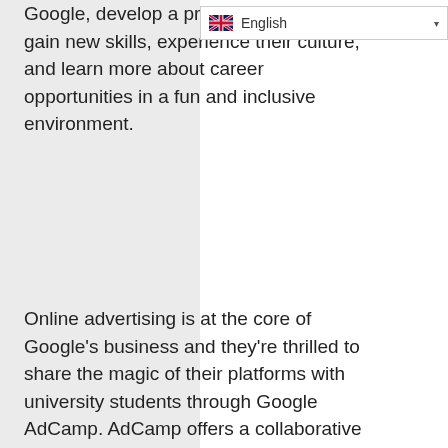[Figure (screenshot): Language selector dropdown showing UK flag and 'English' text with dropdown arrow]
Google, develop a profe[ssional network,] gain new skills, experience their culture, and learn more about career opportunities in a fun and inclusive environment.
Online advertising is at the core of Google's business and they're thrilled to share the magic of their platforms with university students through Google AdCamp. AdCamp offers a collaborative curriculum focused on Google's advertising sales and services operations, an overview of Google's ad products and insight into the industry.